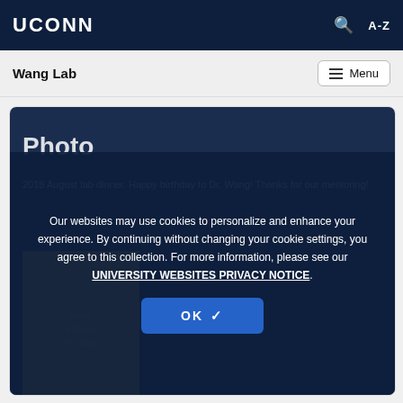UCONN
Wang Lab   Menu
Photo
2018 August lab dinner. Happy birthday to Dr. Wang! Thanks for our mentoring!
[Figure (photo): Gold/tan photo strip showing a birthday celebration image for Dr. Wang with text visible on a banner or card]
Our websites may use cookies to personalize and enhance your experience. By continuing without changing your cookie settings, you agree to this collection. For more information, please see our UNIVERSITY WEBSITES PRIVACY NOTICE.
OK ✓